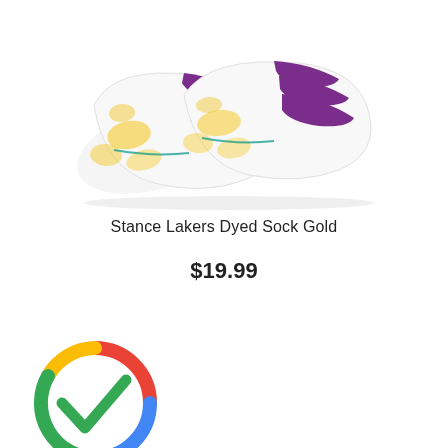[Figure (photo): Product photo of Stance Lakers Dyed Sock Gold — white socks with purple stripes and yellow tie-dye pattern, shown as a pair from the side]
Stance Lakers Dyed Sock Gold
$19.99
[Figure (logo): Google multicolor circle logo with a green checkmark in the center, representing Google product verification or Google Shopping]